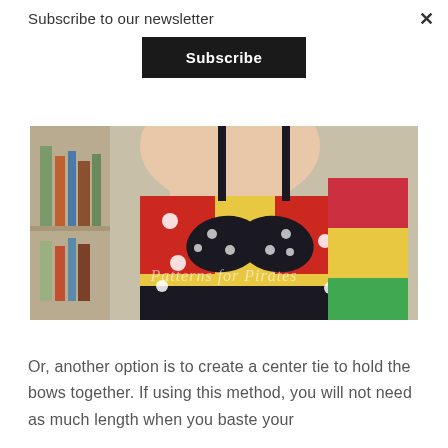Subscribe to our newsletter
Subscribe
[Figure (photo): Child wearing a Minnie Mouse style dress with red and white polka dot fabric and a large black polka dot bow at the center, holding colorful building blocks in front of a bookshelf. Watermark reads 'Patterns for Pirates'.]
Or, another option is to create a center tie to hold the bows together. If using this method, you will not need as much length when you baste your